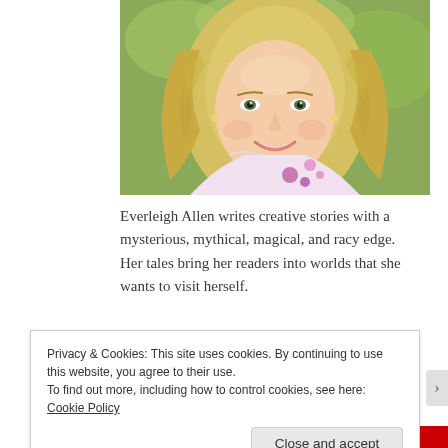[Figure (photo): Portrait photo of a smiling blonde woman with curly hair wearing a floral top, outdoor background]
Everleigh Allen writes creative stories with a mysterious, mythical, magical, and racy edge. Her tales bring her readers into worlds that she wants to visit herself.
Privacy & Cookies: This site uses cookies. By continuing to use this website, you agree to their use.
To find out more, including how to control cookies, see here: Cookie Policy
Close and accept